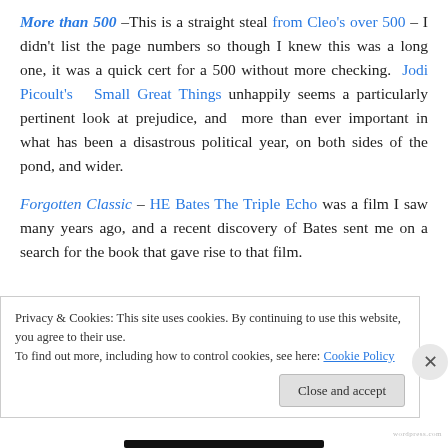More than 500 –This is a straight steal from Cleo's over 500 – I didn't list the page numbers so though I knew this was a long one, it was a quick cert for a 500 without more checking. Jodi Picoult's Small Great Things unhappily seems a particularly pertinent look at prejudice, and more than ever important in what has been a disastrous political year, on both sides of the pond, and wider.
Forgotten Classic – HE Bates The Triple Echo was a film I saw many years ago, and a recent discovery of Bates sent me on a search for the book that gave rise to that film.
Privacy & Cookies: This site uses cookies. By continuing to use this website, you agree to their use.
To find out more, including how to control cookies, see here: Cookie Policy